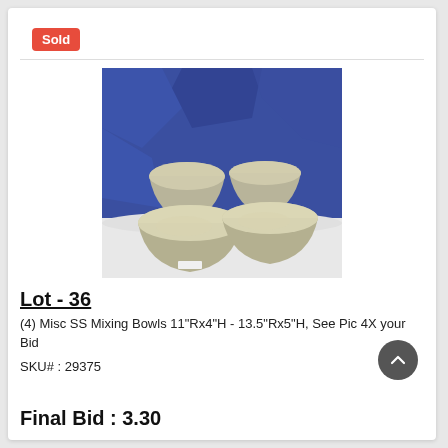Sold
[Figure (photo): Four stainless steel mixing bowls of varying sizes arranged on a white surface against a blue fabric background.]
Lot - 36
(4) Misc SS Mixing Bowls 11"Rx4"H - 13.5"Rx5"H, See Pic 4X your Bid
SKU# : 29375
Final Bid : 3.30